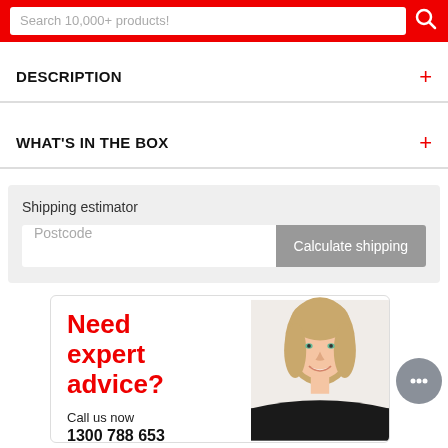Search 10,000+ products!
DESCRIPTION
WHAT'S IN THE BOX
Shipping estimator
Postcode
Calculate shipping
Need expert advice?
Call us now
1300 788 653
[Figure (photo): Smiling woman with blonde hair wearing dark clothing, serving as customer service representative photo]